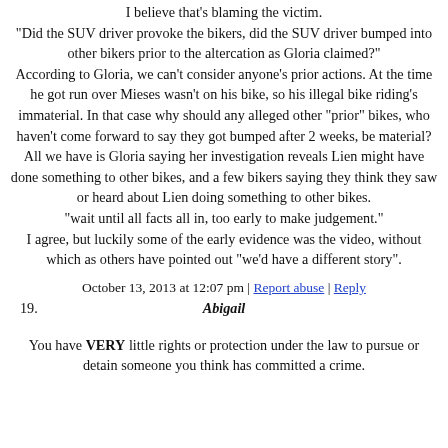I believe that's blaming the victim. "Did the SUV driver provoke the bikers, did the SUV driver bumped into other bikers prior to the altercation as Gloria claimed?" According to Gloria, we can't consider anyone's prior actions. At the time he got run over Mieses wasn't on his bike, so his illegal bike riding's immaterial. In that case why should any alleged other "prior" bikes, who haven't come forward to say they got bumped after 2 weeks, be material? All we have is Gloria saying her investigation reveals Lien might have done something to other bikes, and a few bikers saying they think they saw or heard about Lien doing something to other bikes. "wait until all facts all in, too early to make judgement." I agree, but luckily some of the early evidence was the video, without which as others have pointed out "we'd have a different story".
October 13, 2013 at 12:07 pm | Report abuse | Reply
19. Abigail
You have VERY little rights or protection under the law to pursue or detain someone you think has committed a crime.